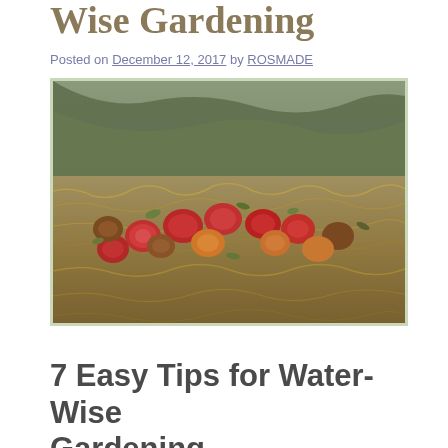Wise Gardening
Posted on December 12, 2017 by ROSMADE
[Figure (photo): Compost pile with rotting apples and hay/grass mulch, forested hills in background]
7 Easy Tips for Water-Wise Gardening